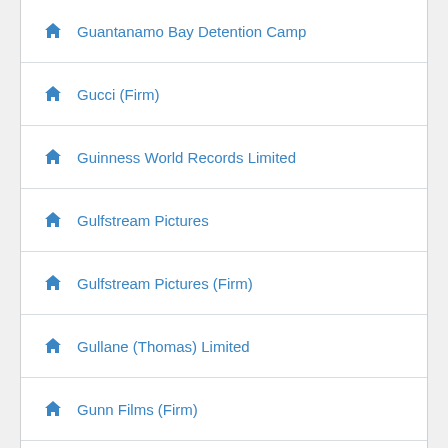Guantanamo Bay Detention Camp
Gucci (Firm)
Guinness World Records Limited
Gulfstream Pictures
Gulfstream Pictures (Firm)
Gullane (Thomas) Limited
Gunn Films (Firm)
Gurney Productions Inc
Guthy-Renker Video
Guy Walks into a Bar (Firm)
HBO Documentary Films